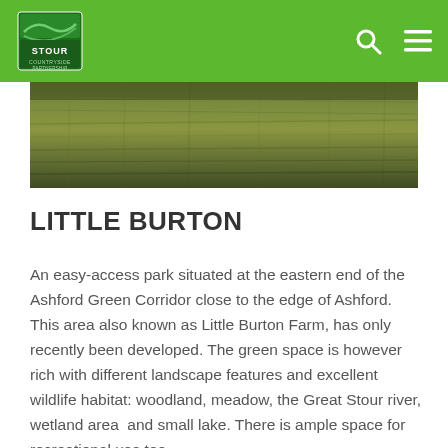British Stour Countryside Partnership
[Figure (photo): Aerial/ground-level photograph of a grassy meadow or field, showing dense green and brownish grass texture.]
LITTLE BURTON
An easy-access park situated at the eastern end of the Ashford Green Corridor close to the edge of Ashford. This area also known as Little Burton Farm, has only recently been developed. The green space is however rich with different landscape features and excellent wildlife habitat: woodland, meadow, the Great Stour river, wetland area  and small lake. There is ample space for recreational use too.